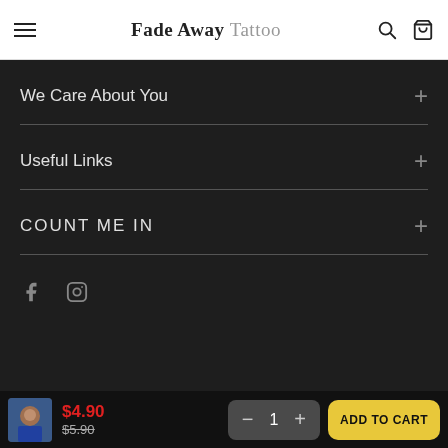Fade Away Tattoo
We Care About You
Useful Links
COUNT ME IN
Social icons: Facebook, Instagram
$4.90  $5.90  1  ADD TO CART